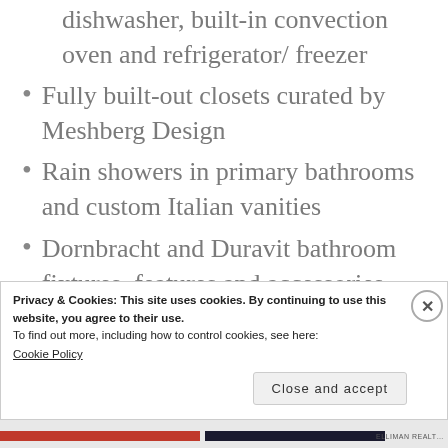dishwasher, built-in convection oven and refrigerator/ freezer
Fully built-out closets curated by Meshberg Design
Rain showers in primary bathrooms and custom Italian vanities
Dornbracht and Duravit bathroom fixtures, features and accessories
All residences come equipped with a
Privacy & Cookies: This site uses cookies. By continuing to use this website, you agree to their use.
To find out more, including how to control cookies, see here:
Cookie Policy